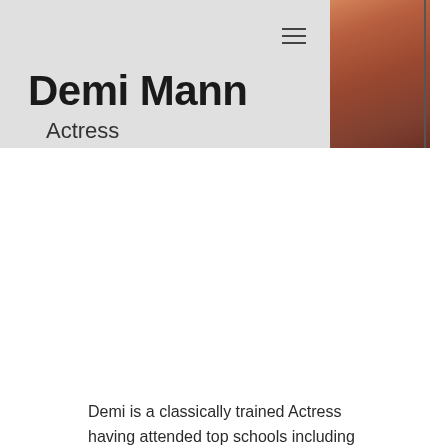Demi Mann
Actress
[Figure (photo): Partial photo of a woman with dark reddish-brown hair, cropped to show partial side/back of head and shoulder]
Demi is a classically trained Actress having attended top schools including